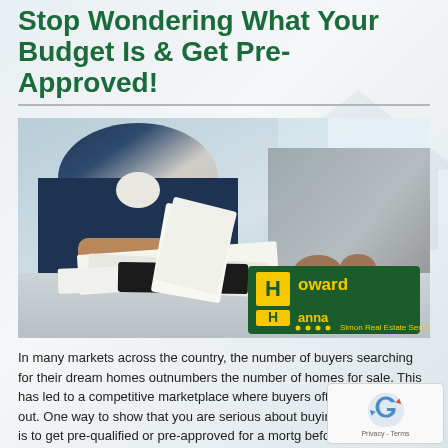Stop Wondering What Your Budget Is & Get Pre-Approved!
[Figure (photo): Two people sitting at a desk reviewing documents; one in a blue suit jacket on the left, one in a gray jacket on the right. A Howard Hanna Simon Real Estate Services logo is overlaid in the bottom right of the photo.]
In many markets across the country, the number of buyers searching for their dream homes outnumbers the number of homes for sale. This has led to a competitive marketplace where buyers often need to stand out. One way to show that you are serious about buying a dream home is to get pre-qualified or pre-approved for a mortgage before starting your search.